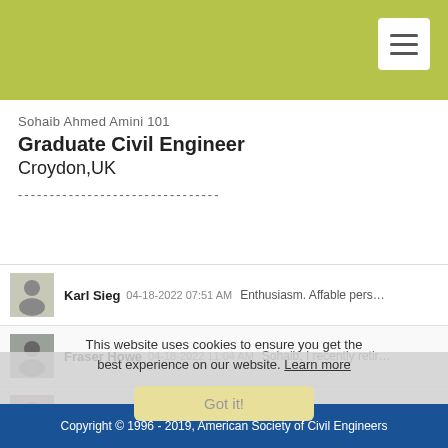Sohaib Ahmed Amini 101
Graduate Civil Engineer
Croydon,UK
--------------------------------
Karl Sieg  04-18-2022 07:51 AM  Enthusiasm. Affable pers...
Fraser Howe  04-18-2022 11:04 AM  Sohaib, I recently retir...
Heidi Wallace  Topic Moderator  04-18-2022 11:35 AM  Have you...
Sam Pappas  04-18-2022 12:10 PM  Dear Sohaib, I am the...
Yance Marti  04-19-2022 10:22 AM  I can't speak for the U...
Dudley McFadden  04-25-2022 01:14 PM  As you recogniz...
This website uses cookies to ensure you get the best experience on our website. Learn more
Got it!
Copyright © 1996 - 2019, American Society of Civil Engineers